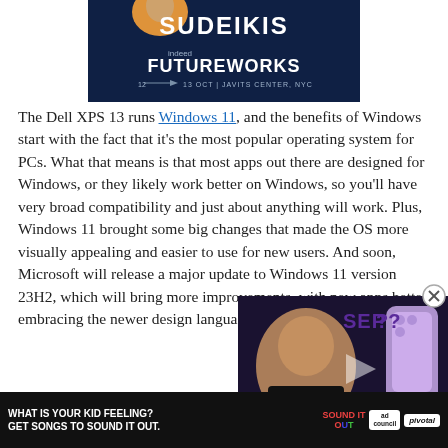[Figure (photo): Advertisement banner for Indeed FutureWorks event, showing 'SUDEIKIS' text, Indeed FutureWorks logo, dates 12-13 OCT, Javits Center NYC, dark navy background with orange element]
The Dell XPS 13 runs Windows 11, and the benefits of Windows start with the fact that it's the most popular operating system for PCs. What that means is that most apps out there are designed for Windows, or they likely work better on Windows, so you'll have very broad compatibility and just about anything will work. Plus, Windows 11 brought some big changes that made the OS more visually appealing and easier to use for new users. And soon, Microsoft will release a major update to Windows 11 version 23H2, which will bring more improvements, with new apps better embracing the newer design language, plus many new features.
[Figure (screenshot): Video overlay showing a person and text 'SEP' and 'DAILY.' with a purple smartphone, close button (x) in top right]
[Figure (photo): Advertisement banner at bottom: 'WHAT IS YOUR KID FEELING? GET SONGS TO SOUND IT OUT.' with Sound It Out and Ad Council and Pivotal logos, black background]